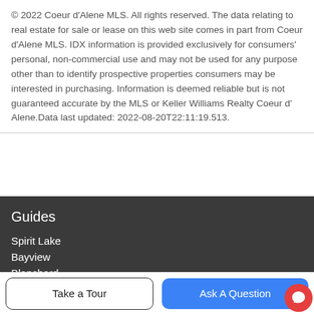© 2022 Coeur d'Alene MLS. All rights reserved. The data relating to real estate for sale or lease on this web site comes in part from Coeur d'Alene MLS. IDX information is provided exclusively for consumers' personal, non-commercial use and may not be used for any purpose other than to identify prospective properties consumers may be interested in purchasing. Information is deemed reliable but is not guaranteed accurate by the MLS or Keller Williams Realty Coeur d' Alene.Data last updated: 2022-08-20T22:11:19.513.
Guides
Spirit Lake
Bayview
Blanchard
Cataldo
Cocolalla
Company